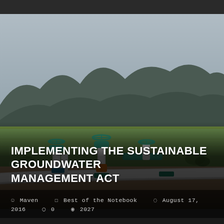[Figure (photo): Outdoor photograph of irrigation water pipes and valves (teal/green colored fittings) in the foreground of an agricultural field with green crops, and rolling mountains in the background under an overcast sky.]
IMPLEMENTING THE SUSTAINABLE GROUNDWATER MANAGEMENT ACT
Maven   Best of the Notebook   August 17, 2016   0   2027